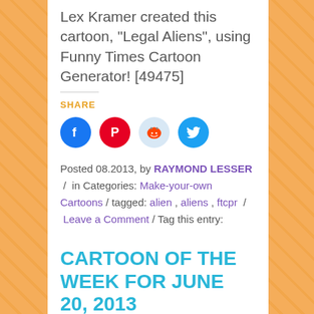Lex Kramer created this cartoon, “Legal Aliens”, using Funny Times Cartoon Generator! [49475]
SHARE
[Figure (infographic): Four social media share buttons: Facebook (blue circle), Pinterest (red circle), Reddit (light blue circle), Twitter (cyan circle)]
Posted 08.2013, by RAYMOND LESSER / in Categories: Make-your-own Cartoons / tagged: alien , aliens , ftcpr / Leave a Comment / Tag this entry:
CARTOON OF THE WEEK FOR JUNE 20, 2013